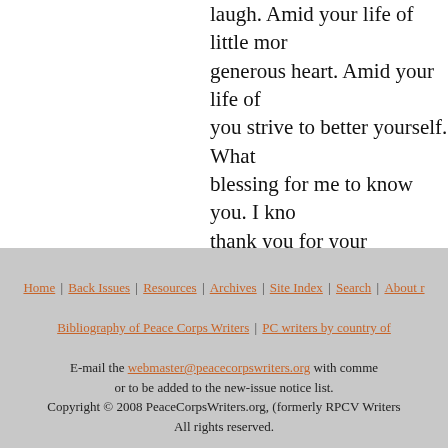laugh. Amid your life of little mor generous heart. Amid your life of you strive to better yourself. What blessing for me to know you. I kno thank you for your friendship, but wonderful thing.
Home | Back Issues | Resources | Archives | Site Index | Search | About ... Bibliography of Peace Corps Writers | PC writers by country of ... E-mail the webmaster@peacecorpswriters.org with comme or to be added to the new-issue notice list. Copyright © 2008 PeaceCorpsWriters.org, (formerly RPCV Writers... All rights reserved.